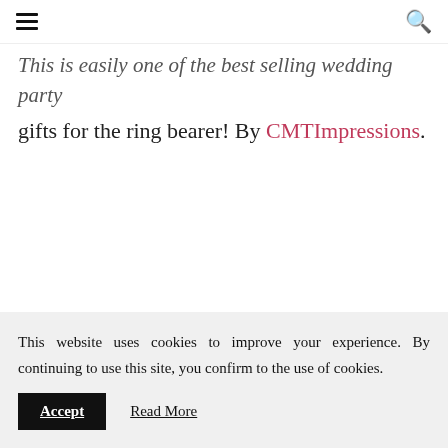≡ [hamburger menu] [search icon]
This is easily one of the best selling wedding party gifts for the ring bearer! By CMTImpressions.
This website uses cookies to improve your experience. By continuing to use this site, you confirm to the use of cookies. Accept  Read More